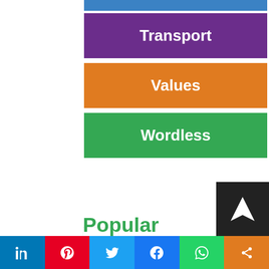[Figure (other): Blue colored button/banner strip at top (partial, cropped)]
Transport
Values
Wordless
[Figure (illustration): Small thumbnail image of a book category illustration with text]
Popular
LinkedIn | Pinterest | Twitter | Facebook | WhatsApp | Share